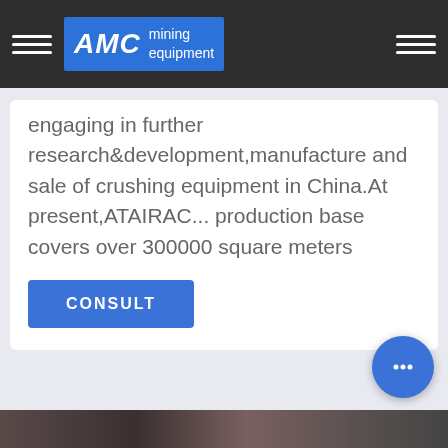AMC mining equipment
engaging in further research&development,manufacture and sale of crushing equipment in China.At present,ATAIRAC... production base covers over 300000 square meters
CONSULT
[Figure (photo): Bottom strip showing industrial/mining equipment scene]